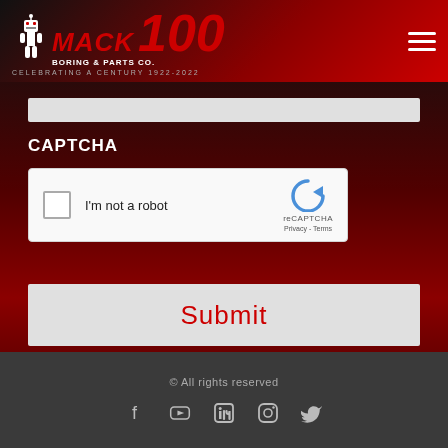[Figure (logo): Mack Boring & Parts Co. 100th anniversary logo with robot mascot, red 100 numeral, and tagline CELEBRATING A CENTURY 1922-2022]
CAPTCHA
[Figure (other): reCAPTCHA widget with checkbox labeled I'm not a robot, reCAPTCHA logo with Privacy and Terms links]
Submit
© All rights reserved
[Figure (other): Social media icons: Facebook, YouTube, LinkedIn, Instagram, Twitter]